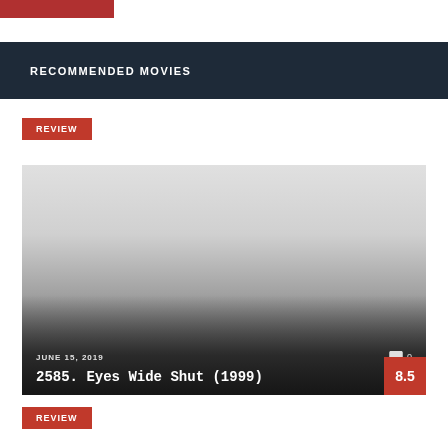[Figure (photo): Partial movie thumbnail image at top left]
RECOMMENDED MOVIES
REVIEW
[Figure (photo): Movie card image with gradient overlay for Eyes Wide Shut (1999), dated June 15, 2019, with score 8.5 and 0 comments]
2585. Eyes Wide Shut (1999)
REVIEW